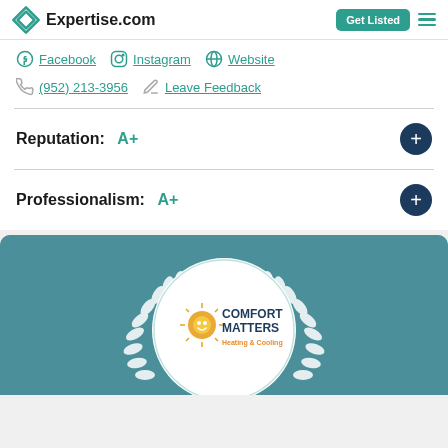Expertise.com | Get Listed
Facebook  Instagram  Website
(952) 213-3956  Leave Feedback
Reputation: A+
Professionalism: A+
[Figure (logo): Comfort Matters Heating & Cooling award badge with laurel wreath on teal background]